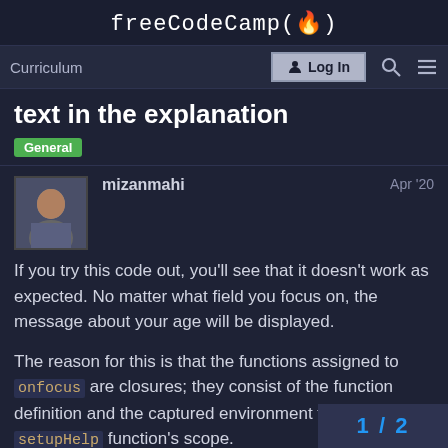freeCodeCamp(🔥)
Curriculum   Log In
text in the explanation
General
mizanmahi   Apr '20
If you try this code out, you'll see that it doesn't work as expected. No matter what field you focus on, the message about your age will be displayed.
The reason for this is that the functions assigned to onfocus are closures; they consist of the function definition and the captured environment from the setupHelp function's scope.
1 / 2